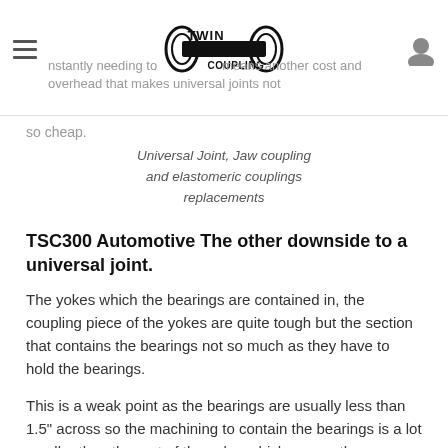Twin Spring Coupling — Universal Joint, Jaw coupling and elastomeric couplings replacements
…nstantly needing to … means another cost and overhead that makes universal joints not so cheap.
Universal Joint, Jaw coupling and elastomeric couplings replacements
TSC300 Automotive The other downside to a universal joint.
The yokes which the bearings are contained in, the coupling piece of the yokes are quite tough but the section that contains the bearings not so much as they have to hold the bearings.
This is a weak point as the bearings are usually less than 1.5" across so the machining to contain the bearings is a lot smaller than the rest of the yoke, which means the likelihood of them cracking is that much higher.